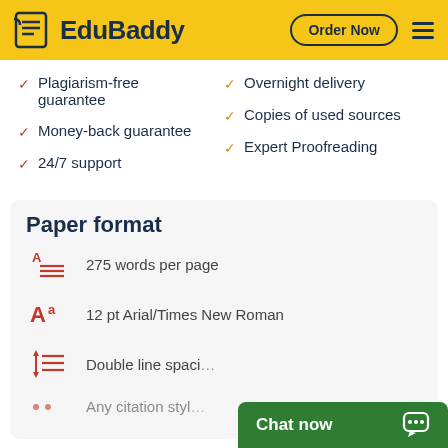EduBaddy — Order Now
Plagiarism-free guarantee
Money-back guarantee
24/7 support
Overnight delivery
Copies of used sources
Expert Proofreading
Paper format
275 words per page
12 pt Arial/Times New Roman
Double line spacing
Any citation style